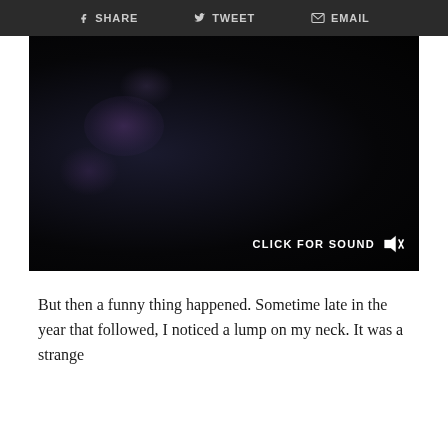SHARE   TWEET   EMAIL
[Figure (screenshot): Dark video player screenshot showing a very dark scene with faint purple/violet blurred shapes at left. Overlaid text at bottom right reads 'CLICK FOR SOUND' with a muted speaker icon.]
But then a funny thing happened. Sometime late in the year that followed, I noticed a lump on my neck. It was a strange